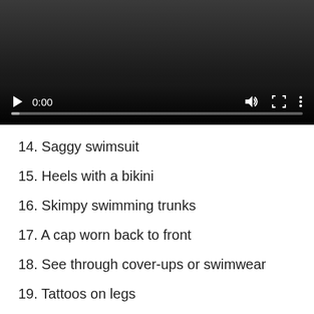[Figure (screenshot): Video player showing paused state at 0:00 with dark background, play button, volume icon, fullscreen icon, and more options icon, with a progress bar at the bottom.]
14. Saggy swimsuit
15. Heels with a bikini
16. Skimpy swimming trunks
17. A cap worn back to front
18. See through cover-ups or swimwear
19. Tattoos on legs
20. Swimwear sitting too low on the waist